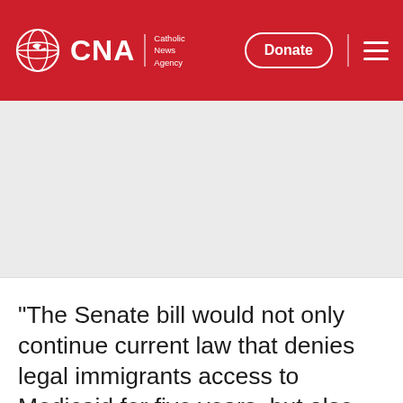CNA | Catholic News Agency | Donate
[Figure (other): Advertisement or image placeholder area, light gray background]
"The Senate bill would not only continue current law that denies legal immigrants access to Medicaid for five years, but also prohibit undocumented immigrants from buying